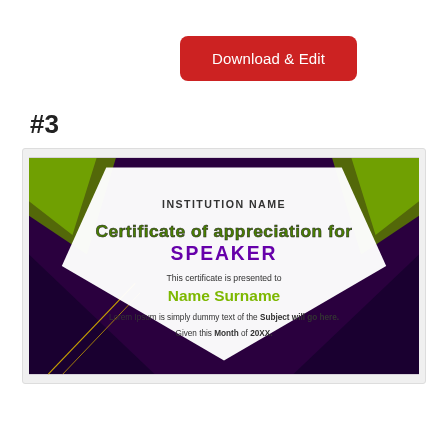[Figure (other): Red rounded rectangle button labeled 'Download & Edit']
#3
[Figure (illustration): Certificate of appreciation for Speaker template with dark purple background, green accent shapes, white central diamond area. Text reads: INSTITUTION NAME, Certificate of appreciation for SPEAKER, This certificate is presented to, Name Surname, Lorem Ipsum is simply dummy text of the Subject will go here., Given this Month of 20XX.]